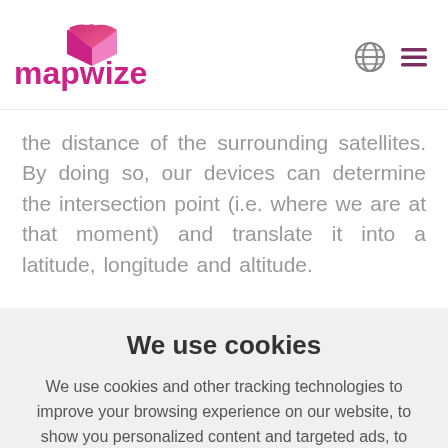mapwize [logo with globe icon and hamburger menu]
the distance of the surrounding satellites. By doing so, our devices can determine the intersection point (i.e. where we are at that moment) and translate it into a latitude, longitude and altitude.
We use cookies
We use cookies and other tracking technologies to improve your browsing experience on our website, to show you personalized content and targeted ads, to analyze our website traffic, and